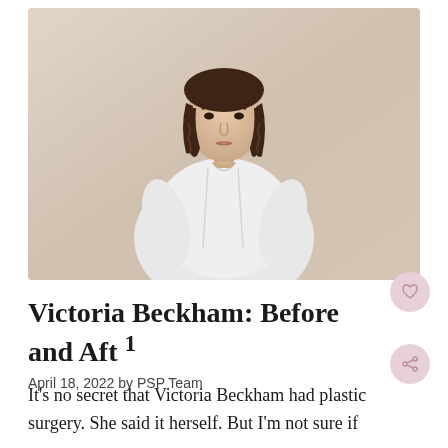[Figure (photo): Portrait photo of Victoria Beckham standing against a beige/cream background, wearing a loose white/light grey button-up shirt, with short brown wavy hair, looking at the camera]
Victoria Beckham: Before and Aft 1
April 18, 2022 by PSP Team
It's no secret that Victoria Beckham had plastic surgery. She said it herself. But I'm not sure if